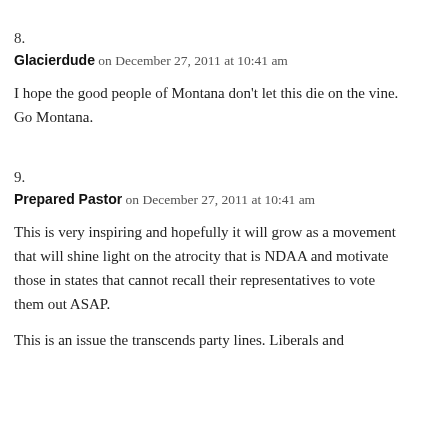8.
Glacierdude on December 27, 2011 at 10:41 am
I hope the good people of Montana don't let this die on the vine. Go Montana.
9.
Prepared Pastor on December 27, 2011 at 10:41 am
This is very inspiring and hopefully it will grow as a movement that will shine light on the atrocity that is NDAA and motivate those in states that cannot recall their representatives to vote them out ASAP.
This is an issue the transcends party lines. Liberals and